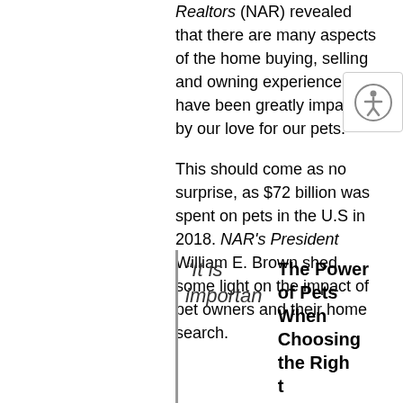Realtors (NAR) revealed that there are many aspects of the home buying, selling and owning experience that have been greatly impacted by our love for our pets.
This should come as no surprise, as $72 billion was spent on pets in the U.S in 2018. NAR's President William E. Brown shed some light on the impact of pet owners and their home search.
“It is important
The Power of Pets When Choosing the Right